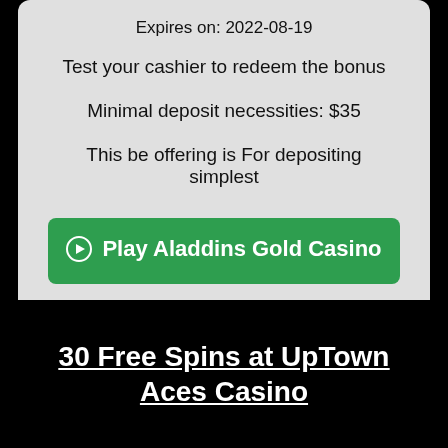Expires on: 2022-08-19
Test your cashier to redeem the bonus
Minimal deposit necessities: $35
This be offering is For depositing simplest
[Figure (other): Green button with arrow icon labeled 'Play Aladdins Gold Casino']
30 Free Spins at UpTown Aces Casino